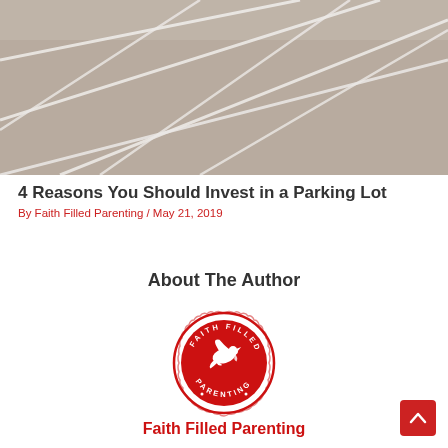[Figure (photo): Aerial view of a parking lot with white painted lane lines on grey asphalt, slight vintage/desaturated tone]
4 Reasons You Should Invest in a Parking Lot
By Faith Filled Parenting / May 21, 2019
About The Author
[Figure (logo): Faith Filled Parenting circular stamp logo in red — a dove/bird in center, text around the border reading FAITH FILLED PARENTING]
Faith Filled Parenting